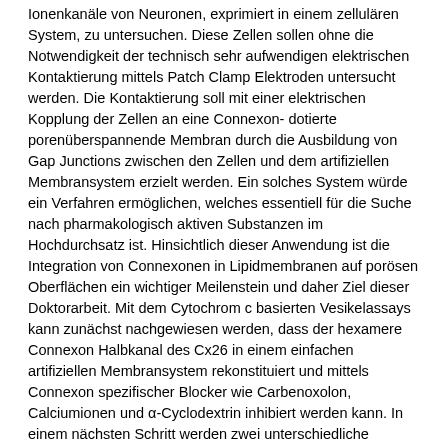Ionenkanäle von Neuronen, exprimiert in einem zellulären System, zu untersuchen. Diese Zellen sollen ohne die Notwendigkeit der technisch sehr aufwendigen elektrischen Kontaktierung mittels Patch Clamp Elektroden untersucht werden. Die Kontaktierung soll mit einer elektrischen Kopplung der Zellen an eine Connexon-dotierte porenüberspannende Membran durch die Ausbildung von Gap Junctions zwischen den Zellen und dem artifiziellen Membransystem erzielt werden. Ein solches System würde ein Verfahren ermöglichen, welches essentiell für die Suche nach pharmakologisch aktiven Substanzen im Hochdurchsatz ist. Hinsichtlich dieser Anwendung ist die Integration von Connexonen in Lipidmembranen auf porösen Oberflächen ein wichtiger Meilenstein und daher Ziel dieser Doktorarbeit. Mit dem Cytochrom c basierten Vesikelassays kann zunächst nachgewiesen werden, dass der hexamere Connexon Halbkanal des Cx26 in einem einfachen artifiziellen Membransystem rekonstituiert und mittels Connexon spezifischer Blocker wie Carbenoxolon, Calciumionen und α-Cyclodextrin inhibiert werden kann. In einem nächsten Schritt werden zwei unterschiedliche Substrate und Rekonstitutionsmethoden genutzt, um die funktionelle Integration von Cx26 Connexonen in einer artifiziellen porenüberspannenden Membran nachzuweisen. Zum einen kann gezeigt werden, dass der Wildtyp des Cx26 aktive Halbkanäle ausbildet, wenn für die